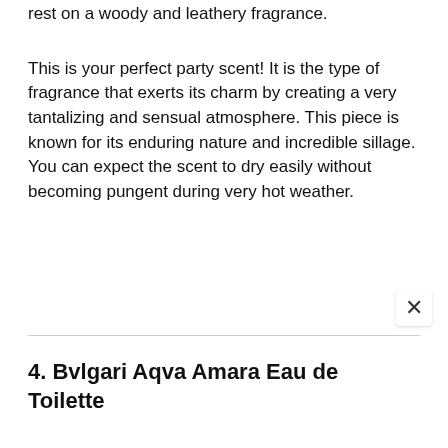rest on a woody and leathery fragrance.
This is your perfect party scent! It is the type of fragrance that exerts its charm by creating a very tantalizing and sensual atmosphere. This piece is known for its enduring nature and incredible sillage. You can expect the scent to dry easily without becoming pungent during very hot weather.
4. Bvlgari Aqva Amara Eau de Toilette